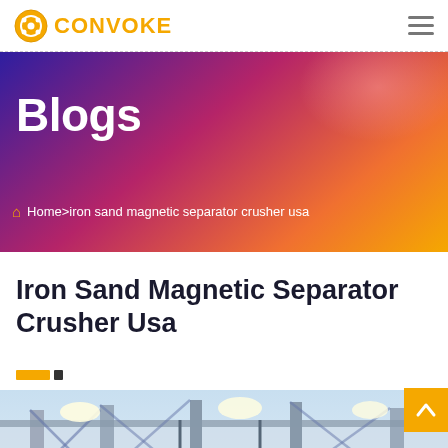CONVOKE
Blogs
Home > iron sand magnetic separator crusher usa
Iron Sand Magnetic Separator Crusher Usa
[Figure (photo): Industrial facility interior showing magnetic separator/crusher equipment with metal framework, bright lighting, and machinery components]